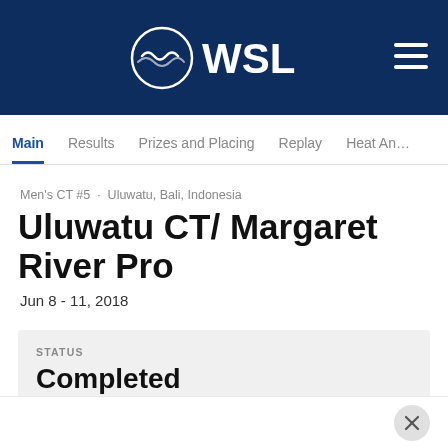[Figure (logo): WSL (World Surf League) logo — wave icon with circular border and WSL text in white, on dark navy background]
Main   Results   Prizes and Placing   Replay   Heat An…
Men's CT #5  ·  Uluwatu, Bali, Indonesia
Uluwatu CT/ Margaret River Pro
Jun 8 - 11, 2018
STATUS
Completed
Congratulations, Willian Cardoso
Current Local Time: Aug 31, 2022 9:35 AM SGT